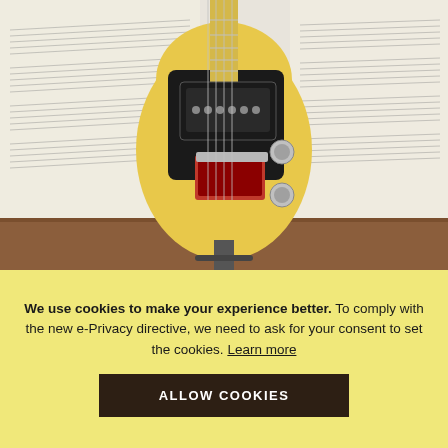[Figure (photo): Photo of a Risa TE Style Electric Tenor Ukulele in Butterscotch Blonde finish, displayed on a stand against a background of sheet music pages. The ukulele has a yellow/blonde body with black pickguard and hardware.]
Availability: Out of stock   SKU: 3358
Risa TE Style Electric Tenor Ukulele Butterscotch Blonde Free Bag
We use cookies to make your experience better. To comply with the new e-Privacy directive, we need to ask for your consent to set the cookies. Learn more
ALLOW COOKIES